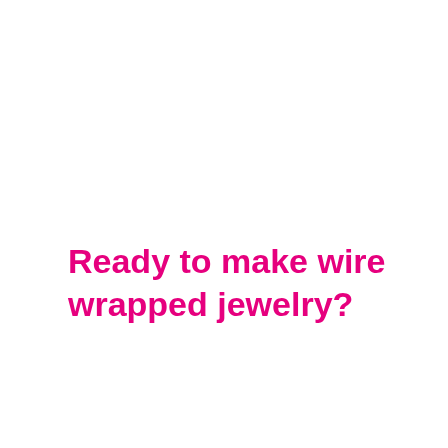Ready to make wire wrapped jewelry?